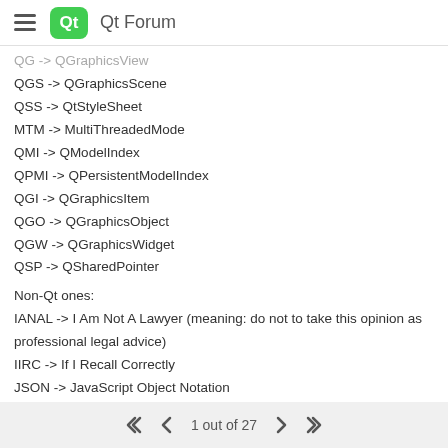Qt Forum
QGS -> QGraphicsScene
QSS -> QtStyleSheet
MTM -> MultiThreadedMode
QMI -> QModelIndex
QPMI -> QPersistentModelIndex
QGI -> QGraphicsItem
QGO -> QGraphicsObject
QGW -> QGraphicsWidget
QSP -> QSharedPointer
Non-Qt ones:
IANAL -> I Am Not A Lawyer (meaning: do not to take this opinion as professional legal advice)
IIRC -> If I Recall Correctly
JSON -> JavaScript Object Notation
LLVM -> Low Level Virtual Machine
YMMV -> Your Mileage May Vary (meaning: It may work differently in your situation, or be different in your experience)
1 out of 27